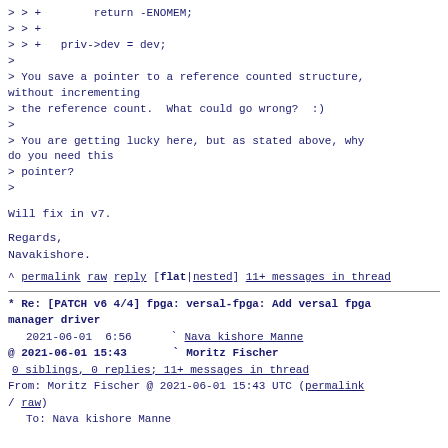> > +        return -ENOMEM;
> > +
> > +   priv->dev = dev;
>
> You save a pointer to a reference counted structure, without incrementing
> the reference count.  What could go wrong?  :)
>
> You are getting lucky here, but as stated above, why do you need this
> pointer?
>
Will fix in v7.
Regards,
Navakishore.
^ permalink raw reply   [flat|nested] 11+ messages in thread
* Re: [PATCH v6 4/4] fpga: versal-fpga: Add versal fpga manager driver
    2021-06-01  6:56      ` Nava kishore Manne
@ 2021-06-01 15:43      ` Moritz Fischer
  0 siblings, 0 replies; 11+ messages in thread
From: Moritz Fischer @ 2021-06-01 15:43 UTC (permalink / raw)
    To: Nava kishore Manne